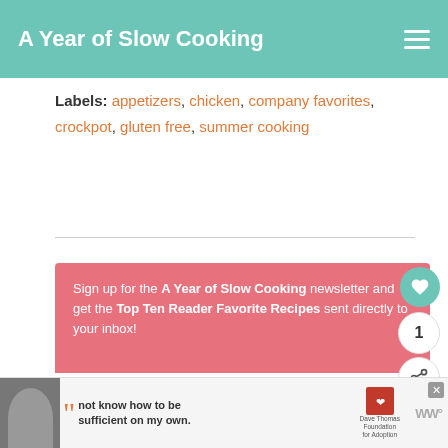A Year of Slow Cooking
Labels: appetizers, chicken, company favorites, crockpot, gluten free, summer cooking
Sign up for the A Year of Slow Cooking newsletter and get the Top Ten Reader Favorite Recipes sent directly to your inbox!
Name
Email
Sign Up
WHAT'S NEXT → Whole Chicken in t...
not know how to be sufficient on my own.